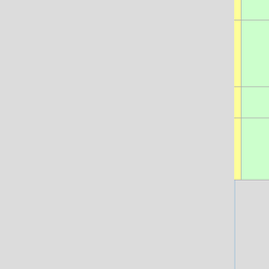| Steps to modify the spreadsheet to meet Registrar requirements | Check |
| --- | --- |
| * Remove the headings from the first row of the spreadsheet. | + |
| * The student's names are displayed as "Last Name, First Name." You must remove the comma and the first name so that only the last name remains in the column. | + |
| * Replace the gatorlink username with the UFID. | + |
| ** If the first number(s) of a UFID is zero, Excel will... |  |